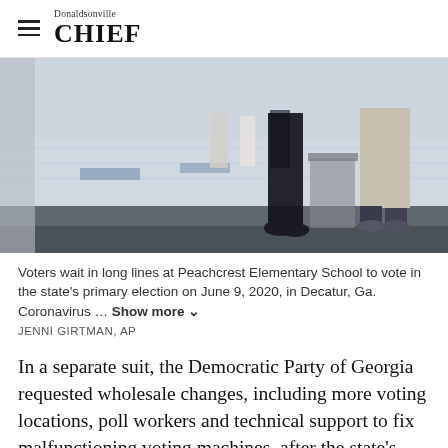Donaldsonville CHIEF
[Figure (photo): People standing in line at a polling location, showing legs and feet of voters on a shiny institutional floor, likely a school gymnasium or hallway.]
Voters wait in long lines at Peachcrest Elementary School to vote in the state's primary election on June 9, 2020, in Decatur, Ga. Coronavirus ... Show more
JENNI GIRTMAN, AP
In a separate suit, the Democratic Party of Georgia requested wholesale changes, including more voting locations, poll workers and technical support to fix malfunctioning voting machines, after the state’s June primary led to people waiting up to eight hours in line to vote